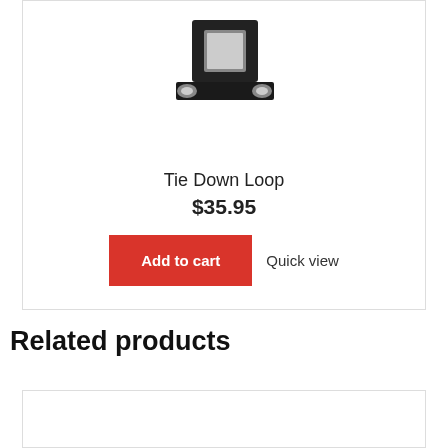[Figure (photo): Photo of a black metal tie down loop mounting bracket with a square tube receiver and two mounting holes at the base]
Tie Down Loop
$35.95
Add to cart
Quick view
Related products
[Figure (photo): Related product card (partially visible, empty image area)]